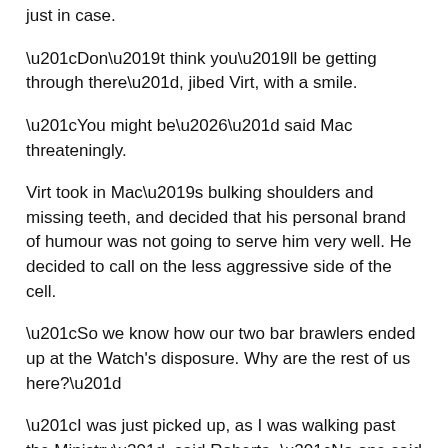just in case.
“Don’t think you’ll be getting through there”, jibed Virt, with a smile.
“You might be…” said Mac threateningly.
Virt took in Mac’s bulking shoulders and missing teeth, and decided that his personal brand of humour was not going to serve him very well. He decided to call on the less aggressive side of the cell.
“So we know how our two bar brawlers ended up at the Watch’s disposure. Why are the rest of us here?”
“I was just picked up, as I was walking past the Ministry”, said Roberta, “No one said why”.
“I’ve got no idea why we’re here”, said Bernard, distractedly.